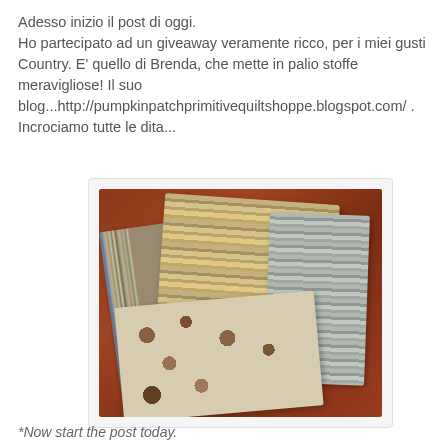Adesso inizio il post di oggi.
Ho partecipato ad un giveaway veramente ricco, per i miei gusti Country. E' quello di Brenda, che mette in palio stoffe meravigliose! Il suo blog...http://pumpkinpatchprimitivequiltshoppe.blogspot.com/ . Incrociamo tutte le dita...
[Figure (photo): Photo of several fabric bundles/fat quarter stacks placed on a wooden reddish-brown table. The bundles show various country-style patterned fabrics in earthy tones — blue-grey stripes, tan/beige patterns, and grey textures.]
*Now start the post today.